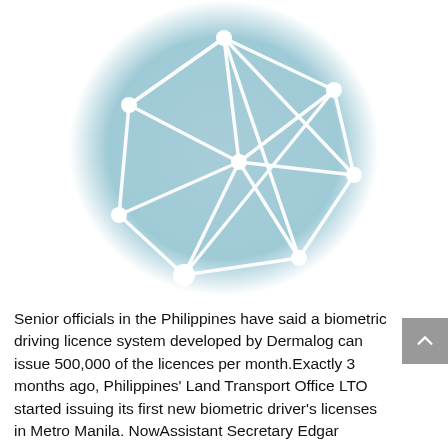[Figure (logo): Network/mesh icon - a light blue circle containing white interconnected nodes and lines forming a geometric mesh/network pattern]
Senior officials in the Philippines have said a biometric driving licence system developed by Dermalog can issue 500,000 of the licences per month.Exactly 3 months ago, Philippines' Land Transport Office LTO started issuing its first new biometric driver's licenses in Metro Manila. NowAssistant Secretary Edgar Galvante of LTO said: "We are happy that the new system is replacing the